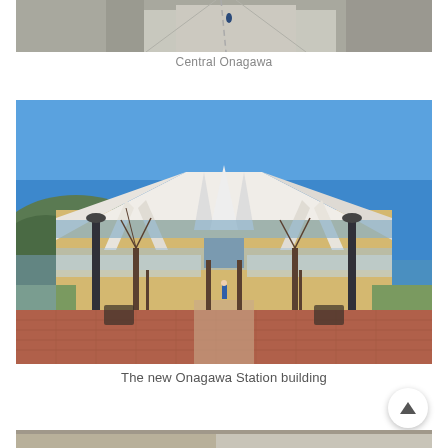[Figure (photo): Aerial or elevated view of a road in Onagawa, partially visible at top of page]
Central Onagawa
[Figure (photo): Exterior photo of the new Onagawa Station building — a modern flat-roofed structure with white angular supports, brick plaza with trees in foreground, blue sky]
The new Onagawa Station building
[Figure (photo): Partial view of another photo at the bottom of the page, partially cropped]